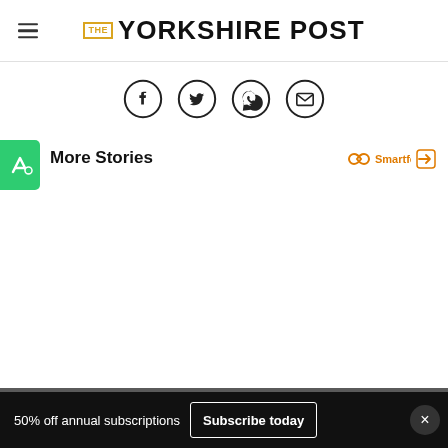THE YORKSHIRE POST
[Figure (other): Social sharing icons: Facebook, Twitter, WhatsApp, Email — circular outlined icons in a row]
[Figure (logo): Green square badge with white A logo (Accessibility/Ad icon)]
More Stories
[Figure (logo): Smartfeed logo with infinity symbol and play icon in orange]
[Figure (other): The Yorkshire Post subscription advertisement banner: yellow background, 'We've been standing up for Yorkshire since 1754', Subscribe today button]
50% off annual subscriptions
Subscribe today